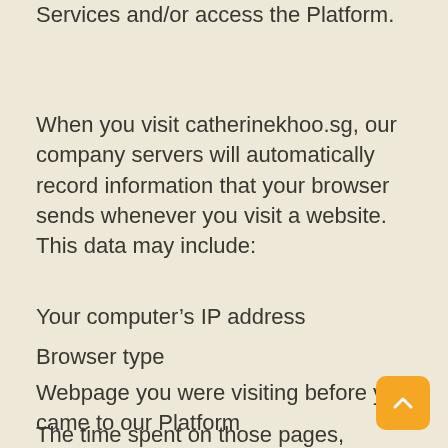Services and/or access the Platform.
When you visit catherinekhoo.sg, our company servers will automatically record information that your browser sends whenever you visit a website. This data may include:
Your computer’s IP address
Browser type
Webpage you were visiting before you came to our Platform
The pages within the Platform which you visit
The time spent on those pages, items and information searched for on the Platform, access times and